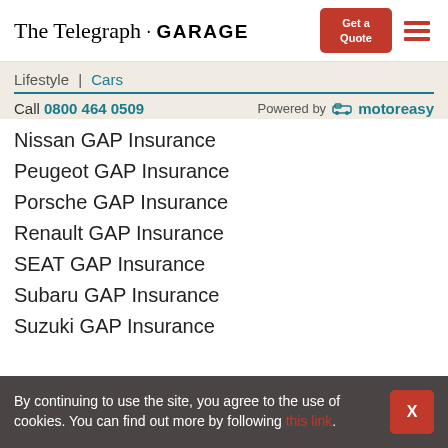The Telegraph · GARAGE | Get a Quote
Lifestyle | Cars
Call 0800 464 0509   Powered by motoreasy
Nissan GAP Insurance
Peugeot GAP Insurance
Porsche GAP Insurance
Renault GAP Insurance
SEAT GAP Insurance
Subaru GAP Insurance
Suzuki GAP Insurance
By continuing to use the site, you agree to the use of cookies. You can find out more by following this link.